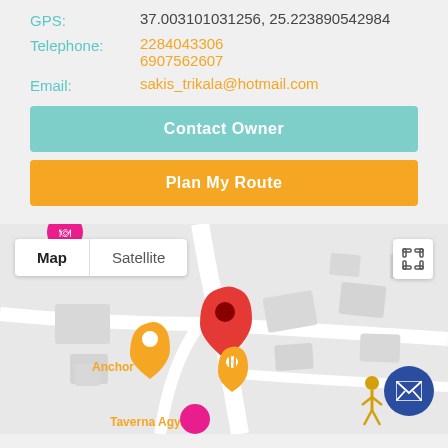GPS: 37.003101031256, 25.223890542984
Telephone: 2284043306
6907562607
Email: sakis_trikala@hotmail.com
Contact Owner
Plan My Route
[Figure (map): Google map view showing location with Map/Satellite toggle, map pins including red location marker, orange Anchor label, Taverna Agyra label, pink circle marker, walking figure icon, fullscreen button, and blue mail button.]